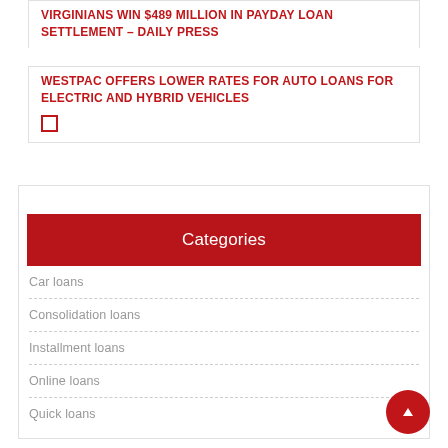VIRGINIANS WIN $489 MILLION IN PAYDAY LOAN SETTLEMENT – DAILY PRESS
WESTPAC OFFERS LOWER RATES FOR AUTO LOANS FOR ELECTRIC AND HYBRID VEHICLES
Categories
Car loans
Consolidation loans
Installment loans
Online loans
Quick loans